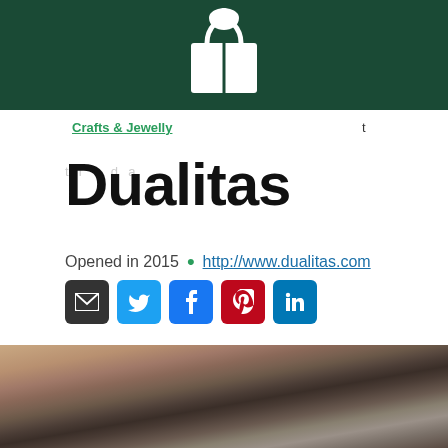[Figure (logo): White shopping bag icon logo on dark green header background]
Crafts & Jewelry  t
Dualitas
Opened in 2015 • http://www.dualitas.com
[Figure (illustration): Social media icons: email (dark), Twitter (blue), Facebook (blue), Pinterest (red), LinkedIn (blue)]
[Figure (photo): Woman with dark hair wearing multiple gemstone rings, touching her face, dark background]